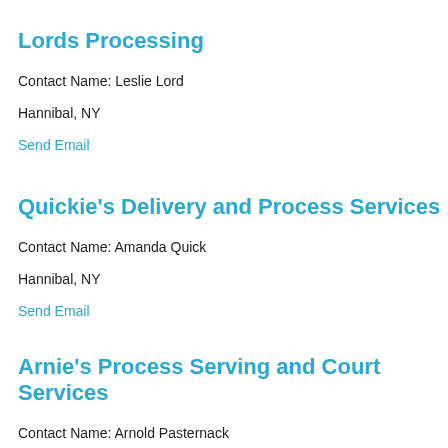Lords Processing
Contact Name: Leslie Lord
Hannibal, NY
Send Email
Quickie's Delivery and Process Services
Contact Name: Amanda Quick
Hannibal, NY
Send Email
Arnie's Process Serving and Court Services
Contact Name: Arnold Pasternack
Hannibal, NY